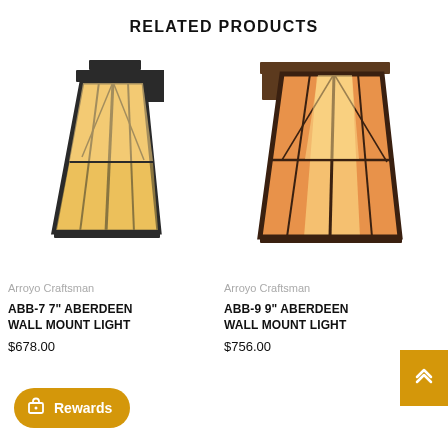RELATED PRODUCTS
[Figure (photo): Arroyo Craftsman ABB-7 7-inch Aberdeen wall mount light with dark bronze frame and amber art glass panels]
Arroyo Craftsman
ABB-7 7" ABERDEEN WALL MOUNT LIGHT
$678.00
[Figure (photo): Arroyo Craftsman ABB-9 9-inch Aberdeen wall mount light with warm-toned amber and orange art glass panels]
Arroyo Craftsman
ABB-9 9" ABERDEEN WALL MOUNT LIGHT
$756.00